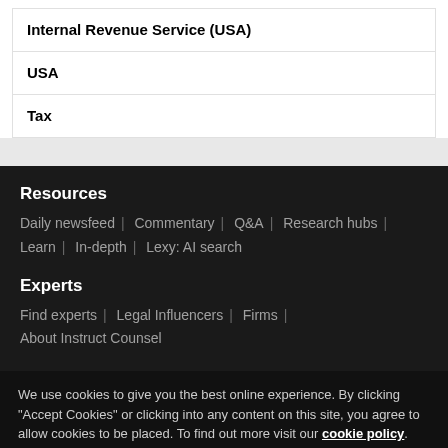Internal Revenue Service (USA)
USA
Tax
Resources
Daily newsfeed | Commentary | Q&A | Research hubs | Learn | In-depth | Lexy: AI search
Experts
Find experts | Legal Influencers | Firms | About Instruct Counsel
We use cookies to give you the best online experience. By clicking "Accept Cookies" or clicking into any content on this site, you agree to allow cookies to be placed. To find out more visit our cookie policy.
Cookies Settings
Accept Cookies